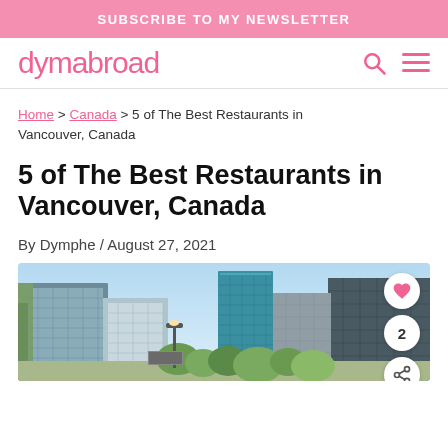SUBSCRIBE TO MY NEWSLETTER
dymabroad
Home > Canada > 5 of The Best Restaurants in Vancouver, Canada
5 of The Best Restaurants in Vancouver, Canada
By Dymphe / August 27, 2021
[Figure (photo): Street-level view of Vancouver downtown buildings and skyline with green trees in foreground]